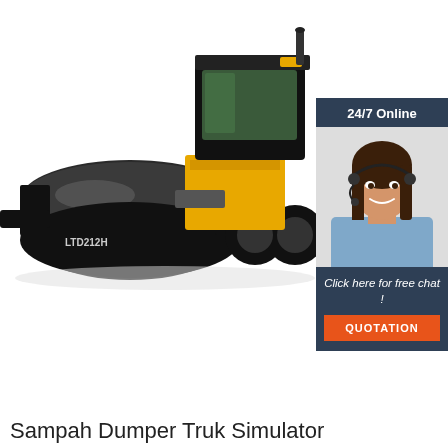[Figure (photo): Road roller / soil compactor machine (LTD212H) on white background, yellow and black body with large front drum]
[Figure (infographic): 24/7 Online chat widget with woman wearing headset, 'Click here for free chat!' text and orange QUOTATION button]
Sampah Dumper Truk Simulator